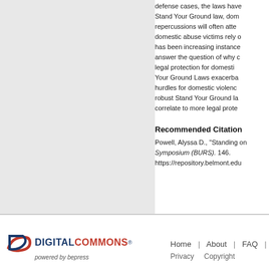[Figure (other): Left panel with light gray background, partial document image]
defense cases, the laws have Stand Your Ground law, dom repercussions will often atte domestic abuse victims rely o has been increasing instance answer the question of why c legal protection for domesti Your Ground Laws exacerba hurdles for domestic violenc robust Stand Your Ground la correlate to more legal prote
Recommended Citation
Powell, Alyssa D., "Standing on Symposium (BURS). 146. https://repository.belmont.edu
Home | About | FAQ | Privacy Copyright